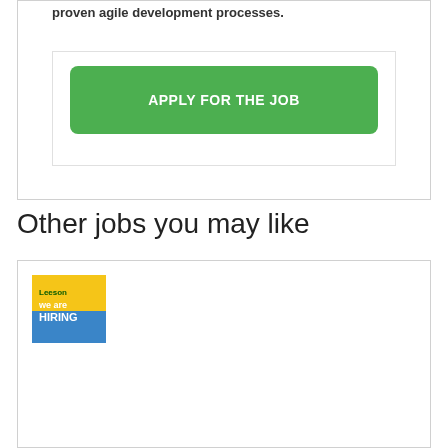proven agile development processes.
[Figure (other): Green 'APPLY FOR THE JOB' button inside a bordered card]
Other jobs you may like
[Figure (other): Job listing card with a 'We Are Hiring' banner image]